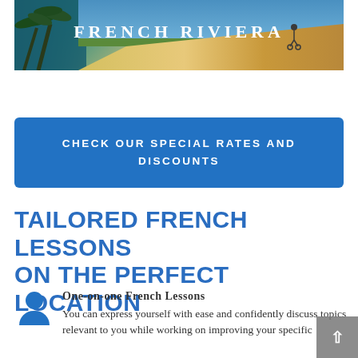[Figure (illustration): French Riviera vintage travel poster style image with palm trees on the left, a warm sandy/golden road on the right, a cyclist figure, and white text reading FRENCH RIVIERA in the center]
CHECK OUR SPECIAL RATES AND DISCOUNTS
TAILORED FRENCH LESSONS ON THE PERFECT LOCATION
One-on-one French Lessons
You can express yourself with ease and confidently discuss topics relevant to you while working on improving your specific